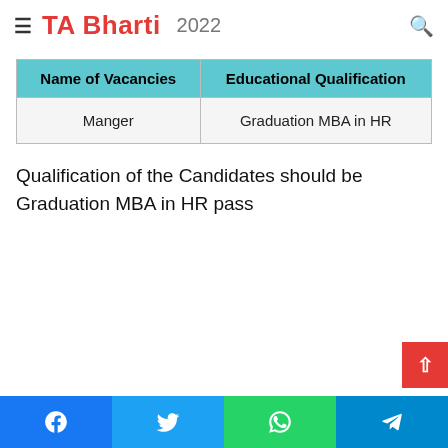Qualification Repco Home Finance Bharti 2022
TA Bharti 2022
| Name of Vacancies | Educational Qualification |
| --- | --- |
| Manger | Graduation MBA in HR |
Qualification of the Candidates should be Graduation MBA in HR pass